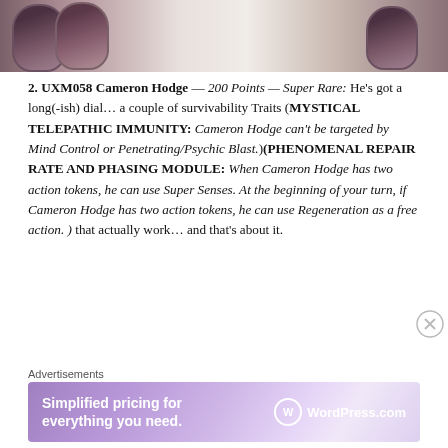[Figure (photo): Partial photo of glasses/jewelry on light background, cropped at top]
2. UXM058 Cameron Hodge — 200 Points — Super Rare: He's got a long(-ish) dial… a couple of survivability Traits (MYSTICAL TELEPATHIC IMMUNITY: Cameron Hodge can't be targeted by Mind Control or Penetrating/Psychic Blast.)(PHENOMENAL REPAIR RATE AND PHASING MODULE: When Cameron Hodge has two action tokens, he can use Super Senses. At the beginning of your turn, if Cameron Hodge has two action tokens, he can use Regeneration as a free action. ) that actually work… and that's about it.
Advertisements
[Figure (screenshot): WordPress.com advertisement banner: 'Simplified pricing for everything you need. WordPress.com']